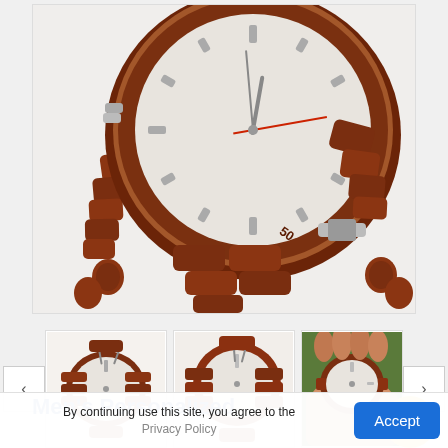[Figure (photo): Large main product image of a men's wooden watch with reddish-brown wooden bracelet and white dial with silver hour markers and red second hand, shown close up from above]
[Figure (photo): Thumbnail 1: Wooden watch flat lay view showing white dial and wooden bracelet links]
[Figure (photo): Thumbnail 2: Wooden watch slightly angled view with red-toned wood and white dial]
[Figure (photo): Thumbnail 3: Wooden watch being worn on a wrist, outdoor grass background]
Men's Personalized
By continuing use this site, you agree to the Privacy Policy